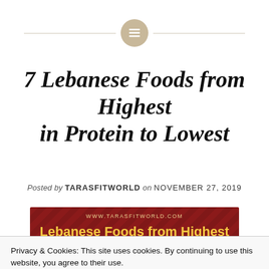7 Lebanese Foods from Highest in Protein to Lowest
Posted by TARASFITWORLD on NOVEMBER 27, 2019
[Figure (infographic): Red banner infographic with diagonal stripe pattern, URL www.tarasfitworld.com, title 'Lebanese Foods from Highest In' in yellow bold text]
Privacy & Cookies: This site uses cookies. By continuing to use this website, you agree to their use.
To find out more, including how to control cookies, see here: Cookie Policy
Close and accept
[Figure (infographic): Bottom portion of red infographic showing '(100 grams)' text in yellow]